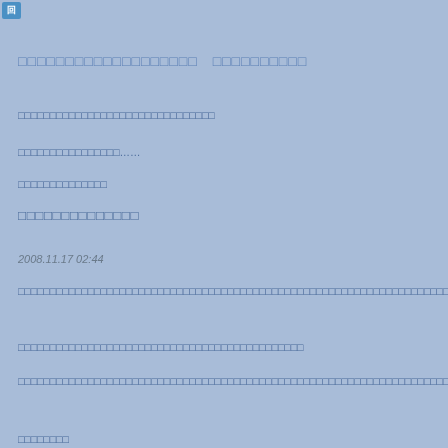回
□□□□□□□□□□□□□□□□□□□　□□□□□□□□□□
□□□□□□□□□□□□□□□□□□□□□□□□□□□□□□□
□□□□□□□□□□□□□□□□……
□□□□□□□□□□□□□□
□□□□□□□□□□□□□□
2008.11.17 02:44
□□□□□□□□□□□□□□□□□□□□□□□□□□□□□□□□□□□□□□□□□□□□□□□□□□□□□□□□□□□□□□□□□□□□□□□□□□□□□□□□□□□□□□□□□□□□□□□□□□□□□□□□□□□□□□□□□□□□□□□□□□□□□□□□□□□□□□□□□□□□□□□□□□□□□□□□□□□□□□□□□□□
□□□□□□□□□□□□□□□□□□□□□□□□□□□□□□□□□□□□□□□□□□□□□
□□□□□□□□□□□□□□□□□□□□□□□□□□□□□□□□□□□□□□□□□□□□□□□□□□□□□□□□□□□□□□□□□□□□□□□□□□□□□□□□□□□□□□□□□□□□□□□□□□□□□□□□□□□□□□□□□□□□□□□□□□□□□□□□□□□□□□□□□□□□□□□□□□□□□
□□□□□□□□